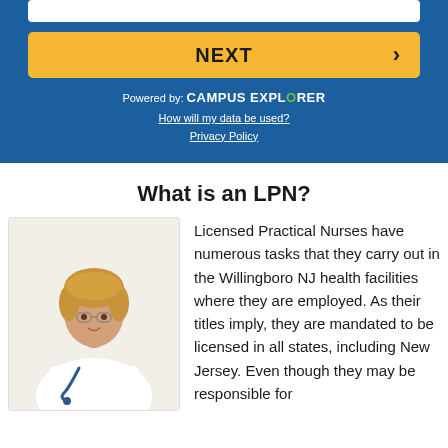[Figure (screenshot): Blue UI widget with white input bar at top, yellow NEXT button with arrow, Campus Explorer branding and links]
What is an LPN?
[Figure (photo): Female nurse or doctor in white coat with stethoscope, arms crossed, professional photo on white background]
Licensed Practical Nurses have numerous tasks that they carry out in the Willingboro NJ health facilities where they are employed. As their titles imply, they are mandated to be licensed in all states, including New Jersey. Even though they may be responsible for